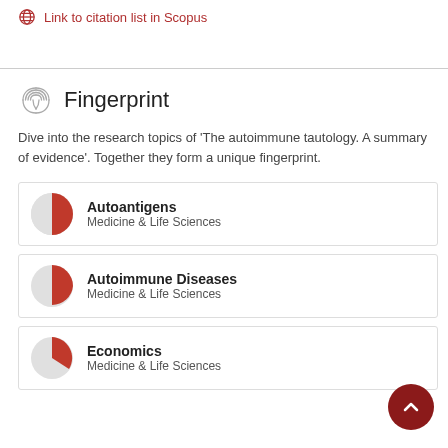Link to citation list in Scopus
Fingerprint
Dive into the research topics of 'The autoimmune tautology. A summary of evidence'. Together they form a unique fingerprint.
Autoantigens — Medicine & Life Sciences
Autoimmune Diseases — Medicine & Life Sciences
Economics — Medicine & Life Sciences